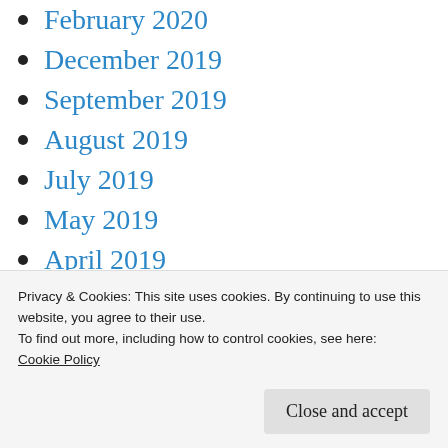February 2020
December 2019
September 2019
August 2019
July 2019
May 2019
April 2019
December 2018
November 2018
October 2018
September 2018
Privacy & Cookies: This site uses cookies. By continuing to use this website, you agree to their use.
To find out more, including how to control cookies, see here:
Cookie Policy
Close and accept